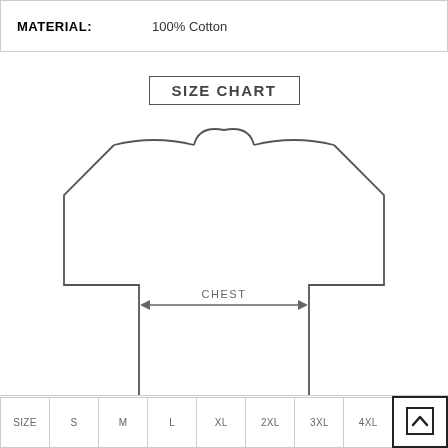| MATERIAL: | 100% Cotton |
SIZE CHART
[Figure (illustration): Outline drawing of a t-shirt with a double-headed arrow labeled CHEST across the chest area]
| SIZE | S | M | L | XL | 2XL | 3XL | 4XL |
| --- | --- | --- | --- | --- | --- | --- | --- |